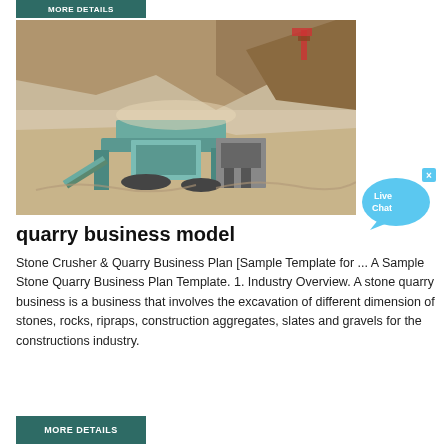More Details
[Figure (photo): Aerial view of a stone quarry site with heavy machinery including crushers and excavators operating in a rocky terrain with sandy soil.]
quarry business model
Stone Crusher & Quarry Business Plan [Sample Template for ... A Sample Stone Quarry Business Plan Template. 1. Industry Overview. A stone quarry business is a business that involves the excavation of different dimension of stones, rocks, ripraps, construction aggregates, slates and gravels for the constructions industry.
More Details